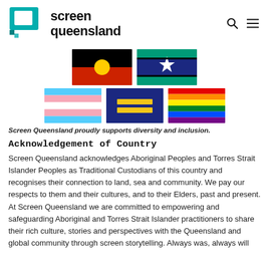[Figure (logo): Screen Queensland logo — teal speech bubble icon with white square inside, beside bold black text reading 'screen queensland']
[Figure (illustration): Six diversity flags arranged in two rows: top row — Aboriginal flag (black/red/yellow circle) and Torres Strait Islander flag (blue/green/white star emblem); bottom row — Transgender flag (blue/pink/white stripes), Equality flag (dark blue with yellow equality symbol), and Rainbow/Pride flag (red/orange/yellow/green/blue/purple stripes).]
Screen Queensland proudly supports diversity and inclusion.
Acknowledgement of Country
Screen Queensland acknowledges Aboriginal Peoples and Torres Strait Islander Peoples as Traditional Custodians of this country and recognises their connection to land, sea and community. We pay our respects to them and their cultures, and to their Elders, past and present. At Screen Queensland we are committed to empowering and safeguarding Aboriginal and Torres Strait Islander practitioners to share their rich culture, stories and perspectives with the Queensland and global community through screen storytelling. Always was, always will